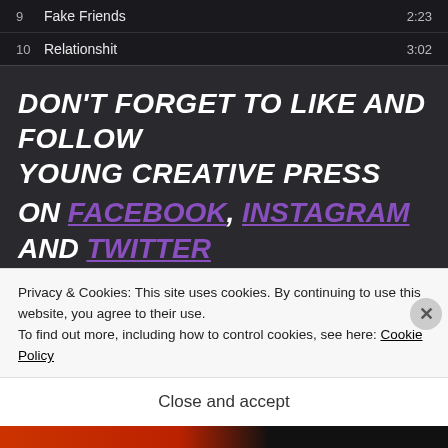| # | Track | Duration |
| --- | --- | --- |
| 9 | Fake Friends | 2:23 |
| 10 | Relationshit | 3:02 |
DON'T FORGET TO LIKE AND FOLLOW YOUNG CREATIVE PRESS ON FACEBOOK, INSTAGRAM AND TWITTER
Advertisements
Privacy & Cookies: This site uses cookies. By continuing to use this website, you agree to their use.
To find out more, including how to control cookies, see here: Cookie Policy
Close and accept